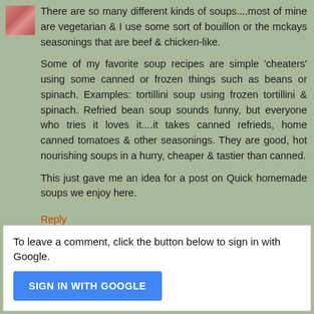There are so many different kinds of soups....most of mine are vegetarian & I use some sort of bouillon or the mckays seasonings that are beef & chicken-like.
Some of my favorite soup recipes are simple 'cheaters' using some canned or frozen things such as beans or spinach. Examples: tortillini soup using frozen tortillini & spinach. Refried bean soup sounds funny, but everyone who tries it loves it....it takes canned refrieds, home canned tomatoes & other seasonings. They are good, hot nourishing soups in a hurry, cheaper & tastier than canned.
This just gave me an idea for a post on Quick homemade soups we enjoy here.
Reply
To leave a comment, click the button below to sign in with Google.
SIGN IN WITH GOOGLE